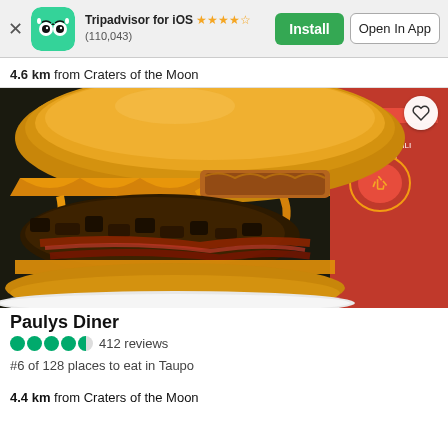[Figure (screenshot): Tripadvisor app install banner with owl logo, star rating (110,043 reviews), Install and Open In App buttons]
4.6 km from Craters of the Moon
[Figure (photo): Close-up photo of a large burger with melted cheese, bacon, and condiment bottle in background]
Paulys Diner
412 reviews
#6 of 128 places to eat in Taupo
4.4 km from Craters of the Moon